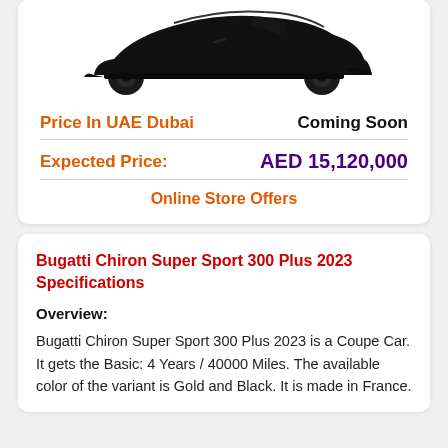[Figure (photo): Partial view of a black Bugatti Chiron Super Sport 300 Plus car from the side, showing the front and rear wheels and lower body against a white background.]
Price In UAE Dubai   Coming Soon
Expected Price:   AED 15,120,000
Online Store Offers
Bugatti Chiron Super Sport 300 Plus 2023 Specifications
Overview:
Bugatti Chiron Super Sport 300 Plus 2023 is a Coupe Car. It gets the Basic: 4 Years / 40000 Miles. The available color of the variant is Gold and Black. It is made in France.